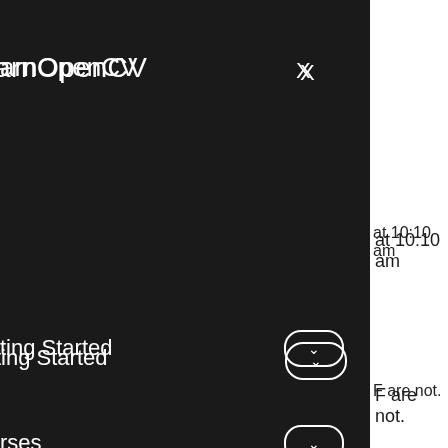LearnOpenCV
X
at 10:10 am
Getting Started
F are not.
Courses
Resources
Consulting
About
YouTube
:22 am